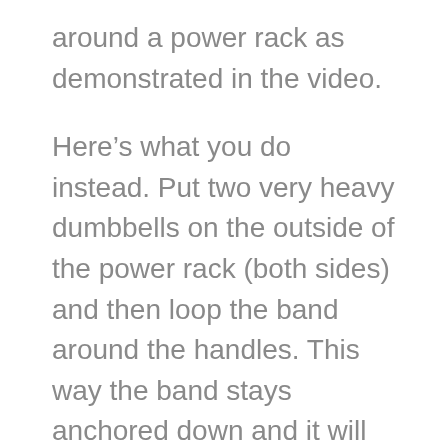around a power rack as demonstrated in the video.
Here’s what you do instead. Put two very heavy dumbbells on the outside of the power rack (both sides) and then loop the band around the handles. This way the band stays anchored down and it will roll into the power rack when you perform the hip thrusts. Again, make sure they’re heavy dumbbells; you don’t want them to pop over the sides and smack into you.
Give that exercise a shot. Your glutes will